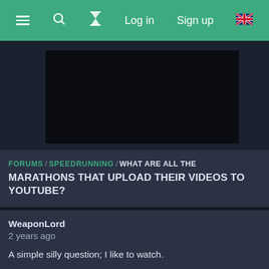≡  🔍  ⏳  Log in  Sign up  🇬🇧
[Figure (screenshot): Dark video thumbnail area with black video player region centered]
FORUMS / SPEEDRUNNING / WHAT ARE ALL THE MARATHONS THAT UPLOAD THEIR VIDEOS TO YOUTUBE?
WeaponLord
2 years ago
A simple silly question; I like to watch.
European Speedrunner Assembly
https://www.youtube.com/user/EuroSpeedAssembly